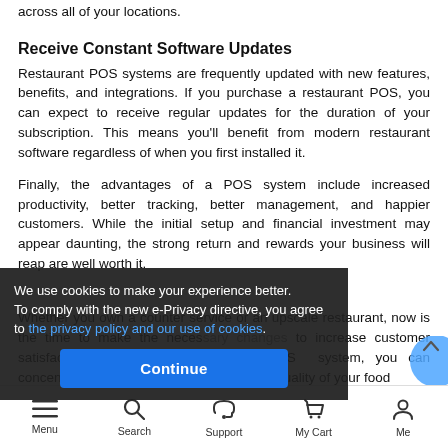across all of your locations.
Receive Constant Software Updates
Restaurant POS systems are frequently updated with new features, benefits, and integrations. If you purchase a restaurant POS, you can expect to receive regular updates for the duration of your subscription. This means you'll benefit from modern restaurant software regardless of when you first installed it.
Finally, the advantages of a POS system include increased productivity, better tracking, better management, and happier customers. While the initial setup and financial investment may appear daunting, the strong return and rewards your business will reap are well worth it.
Whether you own a counter service or an upscale restaurant, now is the time to make the necessary changes to increase customer satisfaction. With the addition of a POS system, you can concentrate on what is most important: the quality of your food
We use cookies to make your experience better.
To comply with the new e-Privacy directive, you agree to the privacy policy and our use of cookies.
Menu   Search   Support   My Cart   Me